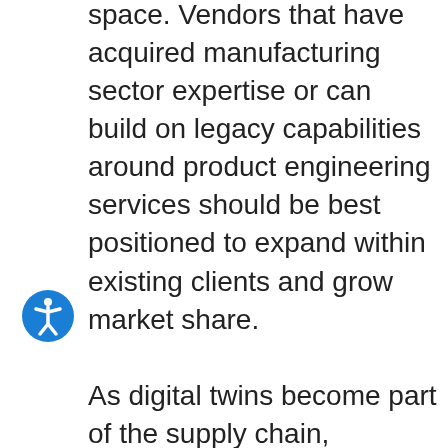space. Vendors that have acquired manufacturing sector expertise or can build on legacy capabilities around product engineering services should be best positioned to expand within existing clients and grow market share. As digital twins become part of the supply chain, consultancies will likely use IoT-enabled solutions to mitigate some of the challenges brought forward in the pandemic, when manufacturers over-rotated on supply chain optimization without sufficient consideration for broad-based ecosystem risk. As technology vendors, such as Microsoft (Nasdaq: MSFT), strike new partnerships to bring cloud-enabled analytics to bring into competition for IT and...